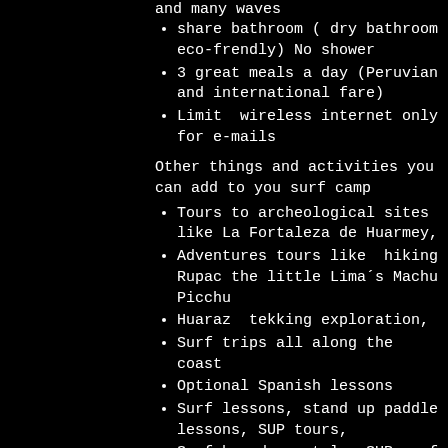and many waves
share bathroom ( dry bathroom eco-frendly) No shower
3 great meals a day (Peruvian and international fare)
Limit  wireless internet only for e-mails
Other things and activities you can add to you surf camp
Tours to archeological sites like La Fortaleza de Huarmey,
Adventures tours like  hiking Rupac the little Lima´s Machu Picchu
Huaraz  tekking exploration,
Surf trips all along the coast
Optional Spanish lessons
Surf lessons, stand up paddle lessons, SUP tours,
Surf boards rentals, SUP surf rental , stand up paddle rental, wetsuits rental
Surf photography ,video
Tour guides hire.
Great people with lots of knowledge of the area and the coast
Camping fire